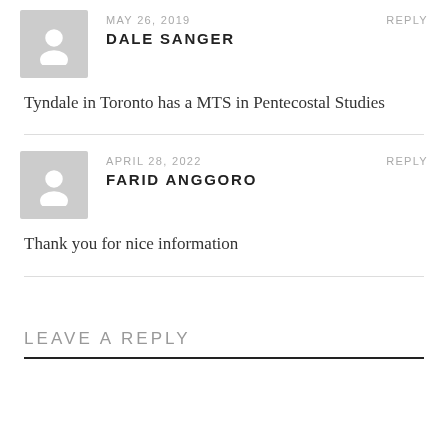MAY 26, 2019
DALE SANGER
REPLY
Tyndale in Toronto has a MTS in Pentecostal Studies
APRIL 28, 2022
FARID ANGGORO
REPLY
Thank you for nice information
LEAVE A REPLY